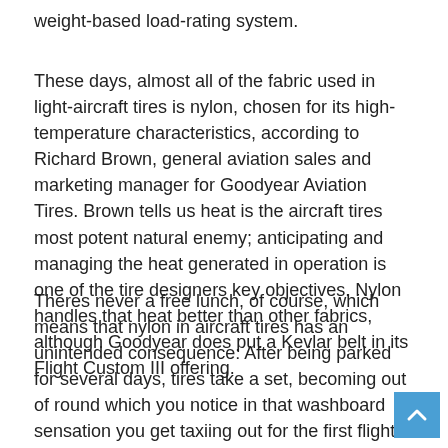weight-based load-rating system.
These days, almost all of the fabric used in light-aircraft tires is nylon, chosen for its high-temperature characteristics, according to Richard Brown, general aviation sales and marketing manager for Goodyear Aviation Tires. Brown tells us heat is the aircraft tires most potent natural enemy; anticipating and managing the heat generated in operation is one of the tire designers key objectives. Nylon handles that heat better than other fabrics, although Goodyear does put a Kevlar belt in its Flight Custom III offering.
Theres never a free lunch, of course, which means that nylon in aircraft tires has an unintended consequence: After being parked for several days, tires take a set, becoming out of round which you notice in that washboard sensation you get taxiing out for the first flight after a couple of weeks.